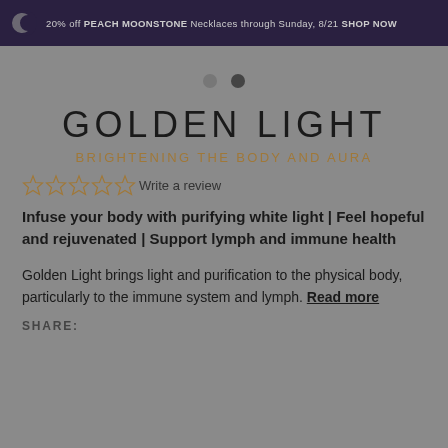20% off PEACH MOONSTONE Necklaces through Sunday, 8/21 SHOP NOW
[Figure (other): Two navigation dots indicating image carousel position]
GOLDEN LIGHT
BRIGHTENING THE BODY AND AURA
Write a review
Infuse your body with purifying white light | Feel hopeful and rejuvenated | Support lymph and immune health
Golden Light brings light and purification to the physical body, particularly to the immune system and lymph. Read more
SHARE: